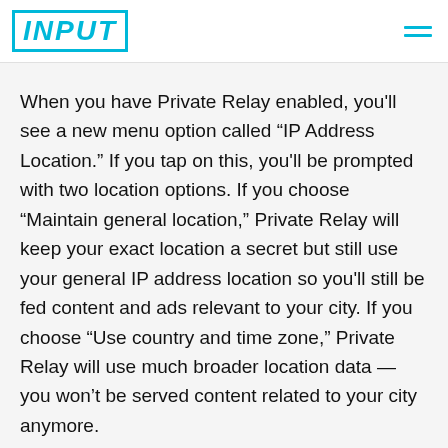INPUT
When you have Private Relay enabled, you'll see a new menu option called “IP Address Location.” If you tap on this, you'll be prompted with two location options. If you choose “Maintain general location,” Private Relay will keep your exact location a secret but still use your general IP address location so you'll still be fed content and ads relevant to your city. If you choose “Use country and time zone,” Private Relay will use much broader location data — you won’t be served content related to your city anymore.